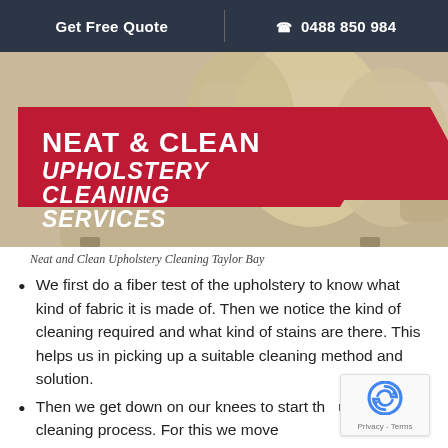Get Free Quote  |  ☎ 0488 850 984
[Figure (photo): Photo of a beige/cream sofa with cushions. Overlaid red banner with text: NEAT & CLEAN UPHOLSTERY CLEANING SERVICES]
Neat and Clean Upholstery Cleaning Taylor Bay
We first do a fiber test of the upholstery to know what kind of fabric it is made of. Then we notice the kind of cleaning required and what kind of stains are there. This helps us in picking up a suitable cleaning method and solution.
Then we get down on our knees to start the upholstery cleaning process. For this we move